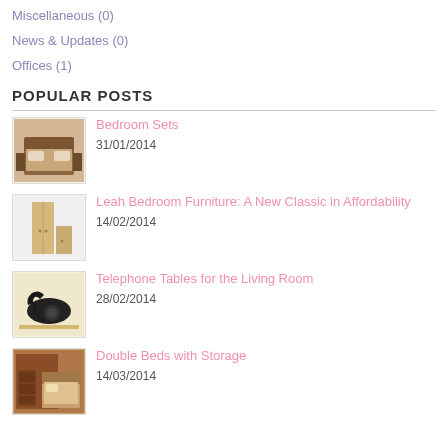Miscellaneous (0)
News & Updates (0)
Offices (1)
POPULAR POSTS
[Figure (photo): Bedroom furniture set with bed and side tables]
Bedroom Sets
31/01/2014
[Figure (photo): Light wood wardrobe and storage unit]
Leah Bedroom Furniture: A New Classic in Affordability
14/02/2014
[Figure (photo): Black vintage telephone on a wooden table]
Telephone Tables for the Living Room
28/02/2014
[Figure (photo): Double bed with built-in storage in a bedroom]
Double Beds with Storage
14/03/2014